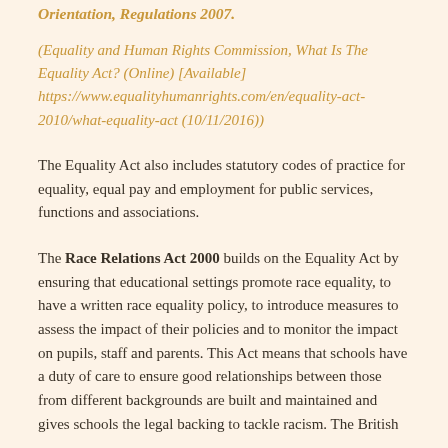Orientation, Regulations 2007.
(Equality and Human Rights Commission, What Is The Equality Act? (Online) [Available] https://www.equalityhumanrights.com/en/equality-act-2010/what-equality-act (10/11/2016))
The Equality Act also includes statutory codes of practice for equality, equal pay and employment for public services, functions and associations.
The Race Relations Act 2000 builds on the Equality Act by ensuring that educational settings promote race equality, to have a written race equality policy, to introduce measures to assess the impact of their policies and to monitor the impact on pupils, staff and parents. This Act means that schools have a duty of care to ensure good relationships between those from different backgrounds are built and maintained and gives schools the legal backing to tackle racism. The British